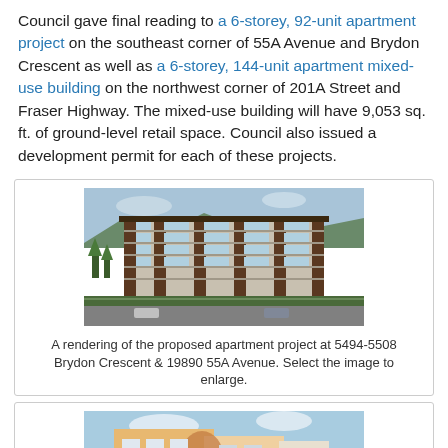Council gave final reading to a 6-storey, 92-unit apartment project on the southeast corner of 55A Avenue and Brydon Crescent as well as a 6-storey, 144-unit apartment mixed-use building on the northwest corner of 201A Street and Fraser Highway. The mixed-use building will have 9,053 sq. ft. of ground-level retail space. Council also issued a development permit for each of these projects.
[Figure (photo): Architectural rendering of a 6-storey apartment building at 5494-5508 Brydon Crescent & 19890 55A Avenue]
A rendering of the proposed apartment project at 5494-5508 Brydon Crescent & 19890 55A Avenue. Select the image to enlarge.
[Figure (photo): Architectural rendering of a 6-storey mixed-use apartment building at 201A Street and Fraser Highway (partially visible)]